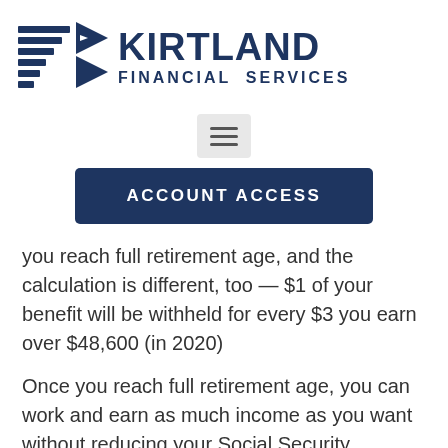[Figure (logo): Kirtland Financial Services logo with stylized American flag icon on the left and bold text 'KIRTLAND FINANCIAL SERVICES' on the right in dark navy blue]
[Figure (other): Hamburger menu button (three horizontal lines) in a light gray rounded rectangle]
ACCOUNT ACCESS
you reach full retirement age, and the calculation is different, too — $1 of your benefit will be withheld for every $3 you earn over $48,600 (in 2020)
Once you reach full retirement age, you can work and earn as much income as you want without reducing your Social Security retirement benefit. And